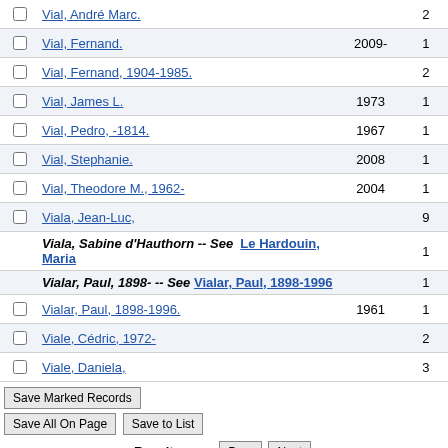Vial, André Marc. — 2
Vial, Fernand. 2009- 1
Vial, Fernand, 1904-1985. — 2
Vial, James L. 1973 1
Vial, Pedro, -1814. 1967 1
Vial, Stephanie. 2008 1
Vial, Theodore M., 1962- 2004 1
Viala, Jean-Luc, — 9
Viala, Sabine d'Hauthorn -- See Le Hardouin, Maria — 1
Vialar, Paul, 1898- -- See Vialar, Paul, 1898-1996 — 1
Vialar, Paul, 1898-1996. 1961 1
Viale, Cédric, 1972- — 2
Viale, Daniela, — 3
Save Marked Records | Save All On Page | Save to List
Result page: Prev Next